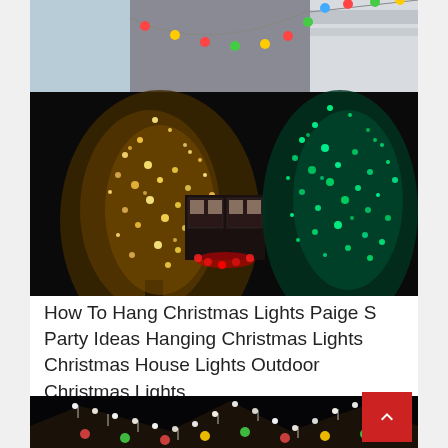[Figure (photo): Composite of two Christmas light photos: top portion shows colorful Christmas lights strung along a roofline/gutter against a light grey sky and white trim; bottom portion shows two illuminated trees at night — left tree covered in warm white/golden lights and right tree covered in teal/green lights, with a house visible in background.]
How To Hang Christmas Lights Paige S Party Ideas Hanging Christmas Lights Christmas House Lights Outdoor Christmas Lights
[Figure (photo): Bottom partial photo showing a house roofline decorated with colorful Christmas lights including white, red, green, and yellow/orange bulbs against a dark night background.]